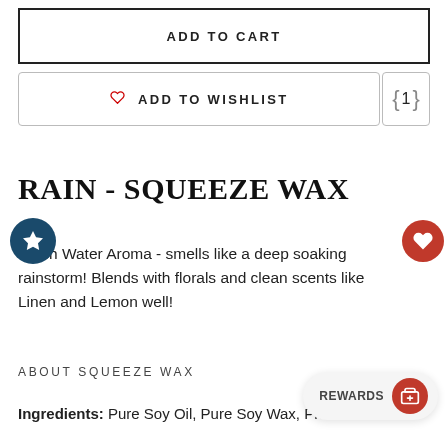ADD TO CART
♡ ADD TO WISHLIST
1
RAIN - SQUEEZE WAX
Fresh Water Aroma - smells like a deep soaking rainstorm! Blends with florals and clean scents like Linen and Lemon well!
ABOUT SQUEEZE WAX
Ingredients: Pure Soy Oil, Pure Soy Wax, Phthalate